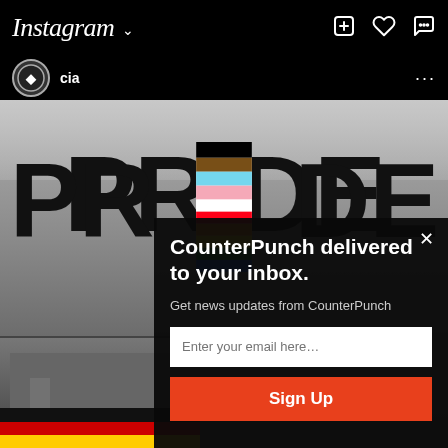Instagram · cia
[Figure (screenshot): CIA Instagram post showing a PRIDE image with a rainbow progress pride flag replacing the 'O' in PRIDE, over a grayscale background with a building and German flag colors at the bottom. Overlaid with a CounterPunch newsletter signup modal.]
CounterPunch delivered to your inbox.
Get news updates from CounterPunch
Enter your email here…
Sign Up